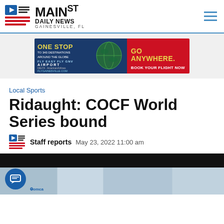MAIN ST DAILY NEWS GAINESVILLE, FL
[Figure (infographic): Advertisement banner: ONE STOP TO 343 DESTINATIONS AROUND THE GLOBE — FLY EASY FLY GNV AIRPORT — GO ANYWHERE. BOOK YOUR FLIGHT NOW]
Local Sports
Ridaught: COCF World Series bound
Staff reports  May 23, 2022 11:00 am
[Figure (photo): Article photo partially visible at the bottom of the page]